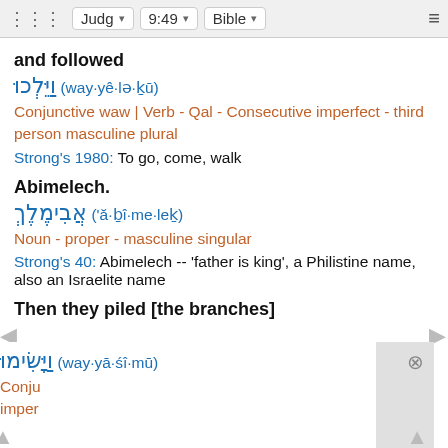⋮⋮⋮  Judg  ▾  9:49  ▾  Bible  ▾  ≡
and followed
וַיֵּלְכוּ (way·yê·lə·ḵū)
Conjunctive waw | Verb - Qal - Consecutive imperfect - third person masculine plural
Strong's 1980: To go, come, walk
Abimelech.
אֲבִימֶלֶךְ ('ă·ḇî·me·leḵ)
Noun - proper - masculine singular
Strong's 40: Abimelech -- 'father is king', a Philistine name, also an Israelite name
Then they piled [the branches]
וַיָּשִׂימוּ (way·yā·śî·mū)
Conjunctive waw | Verb - Qal - Consecutive imperfect